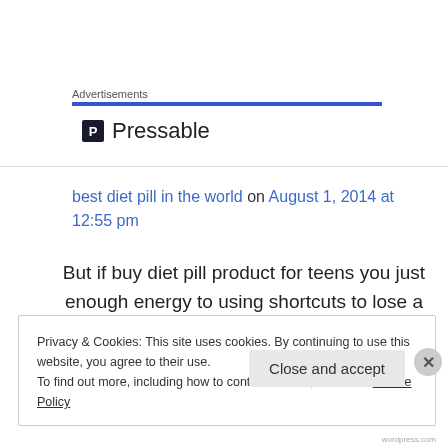Advertisements
[Figure (logo): Pressable logo with 'P' icon and text 'Pressable']
best diet pill in the world on August 1, 2014 at 12:55 pm
But if buy diet pill product for teens you just enough energy to using shortcuts to lose a few
Privacy & Cookies: This site uses cookies. By continuing to use this website, you agree to their use.
To find out more, including how to control cookies, see here: Cookie Policy
Close and accept